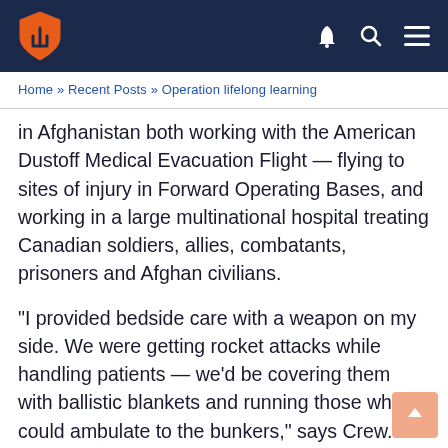Navigation header with logo and icons
Home » Recent Posts » Operation lifelong learning
in Afghanistan both working with the American Dustoff Medical Evacuation Flight — flying to sites of injury in Forward Operating Bases, and working in a large multinational hospital treating Canadian soldiers, allies, combatants, prisoners and Afghan civilians.
“I provided bedside care with a weapon on my side. We were getting rocket attacks while handling patients — we’d be covering them with ballistic blankets and running those who could ambulate to the bunkers,” says Crew.